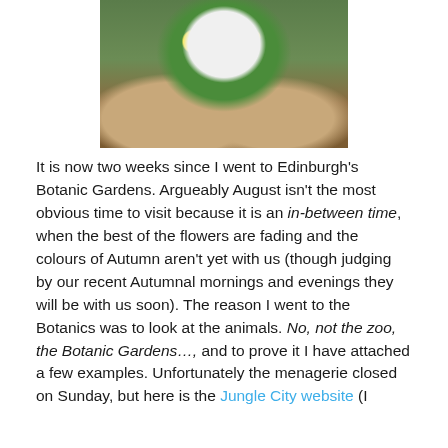[Figure (photo): A decorative painted egg or sphere sculpture with floral motifs (white daisy flowers on a colorful background), mounted on a wooden base with black claw-like feet, set against a backdrop of green foliage.]
It is now two weeks since I went to Edinburgh's Botanic Gardens. Argueably August isn't the most obvious time to visit because it is an in-between time, when the best of the flowers are fading and the colours of Autumn aren't yet with us (though judging by our recent Autumnal mornings and evenings they will be with us soon). The reason I went to the Botanics was to look at the animals. No, not the zoo, the Botanic Gardens…, and to prove it I have attached a few examples. Unfortunately the menagerie closed on Sunday, but here is the Jungle City website (I